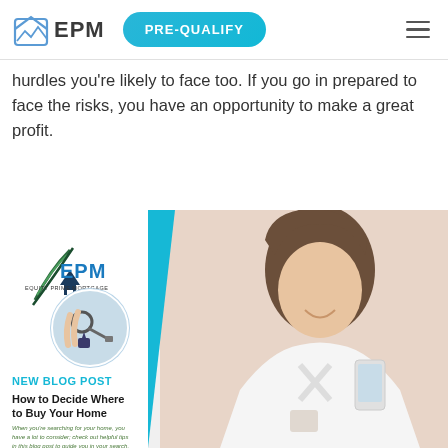EPM | PRE-QUALIFY
hurdles you're likely to face too. If you go in prepared to face the risks, you have an opportunity to make a great profit.
[Figure (illustration): EPM Equity Prime Mortgage promotional blog post image. Shows a smiling woman using a phone on the right side, and on the left side: EPM logo with feather/house icon, a circular photo of a hand holding house keys, text 'NEW BLOG POST' in teal, bold black heading 'How to Decide Where to Buy Your Home', and italic subtext 'When you're searching for your home, you have a lot to consider; check out helpful tips in this blog post to guide you in your search.']